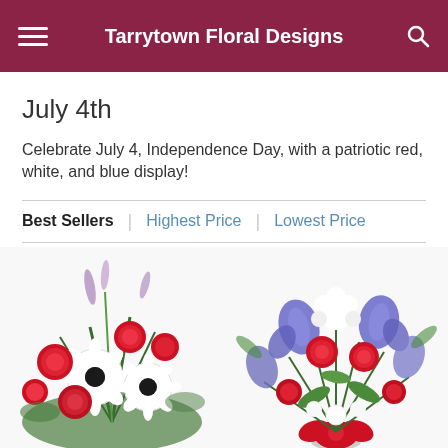Tarrytown Floral Designs
July 4th
Celebrate July 4, Independence Day, with a patriotic red, white, and blue display!
Best Sellers | Highest Price | Lowest Price
[Figure (photo): Red and white floral arrangement with carnations and gerbera daisies]
[Figure (photo): Red, white and blue floral bouquet with irises and carnations with a red ribbon bow]